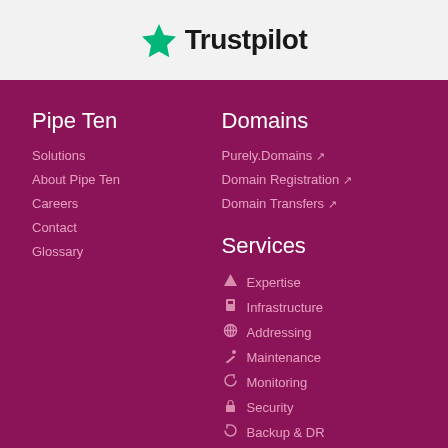[Figure (logo): Trustpilot logo: green star followed by bold text 'Trustpilot' on light grey background]
Pipe Ten
Solutions
About Pipe Ten
Careers
Contact
Glossary
Domains
Purely.Domains ↗
Domain Registration ↗
Domain Transfers ↗
Services
Expertise
Infrastructure
Addressing
Maintenance
Monitoring
Security
Backup & DR
Performance